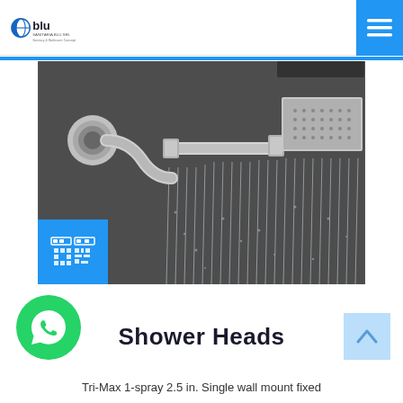blu
[Figure (photo): Close-up photo of a chrome rain shower head mounted on a wall bracket, with water streaming down in vertical lines against a dark slate background. A blue square overlay in the bottom-left corner contains a QR code icon.]
Shower Heads
Tri-Max 1-spray 2.5 in. Single wall mount fixed